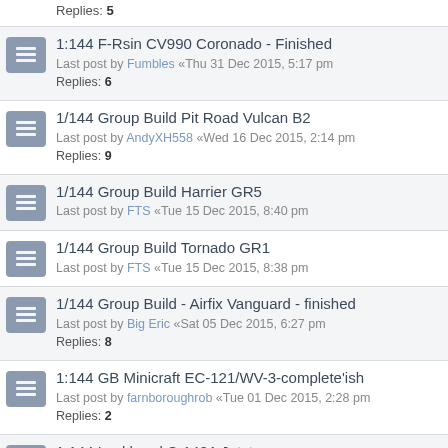Replies: 5
1:144 F-Rsin CV990 Coronado - Finished
Last post by Fumbles «Thu 31 Dec 2015, 5:17 pm
Replies: 6
1/144 Group Build Pit Road Vulcan B2
Last post by AndyXH558 «Wed 16 Dec 2015, 2:14 pm
Replies: 9
1/144 Group Build Harrier GR5
Last post by FTS «Tue 15 Dec 2015, 8:40 pm
1/144 Group Build Tornado GR1
Last post by FTS «Tue 15 Dec 2015, 8:38 pm
1/144 Group Build - Airfix Vanguard - finished
Last post by Big Eric «Sat 05 Dec 2015, 6:27 pm
Replies: 8
1:144 GB Minicraft EC-121/WV-3-complete'ish
Last post by farnboroughrob «Tue 01 Dec 2015, 2:28 pm
Replies: 2
1:144 Lockheed C-140A Jetstar
Last post by farnboroughrob «Tue 01 Dec 2015, 2:17 pm